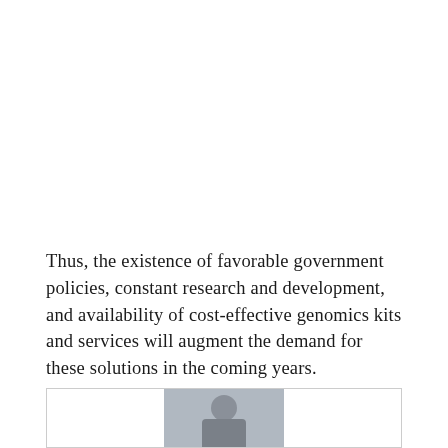Thus, the existence of favorable government policies, constant research and development, and availability of cost-effective genomics kits and services will augment the demand for these solutions in the coming years.
[Figure (photo): A partial view of a person's photo inside a bordered box, showing a man's head and upper body.]